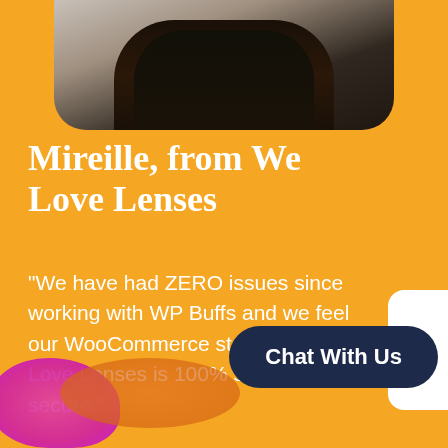[Figure (photo): Person with crossed arms wearing dark clothing and gold watch/necklace, photo at top of card]
Mireille, from We Love Lenses
"We have had ZERO issues since working with WP Buffs and we feel our WooCommerce store at We Love Lenses is 100% safe and secure."
Chat With Us